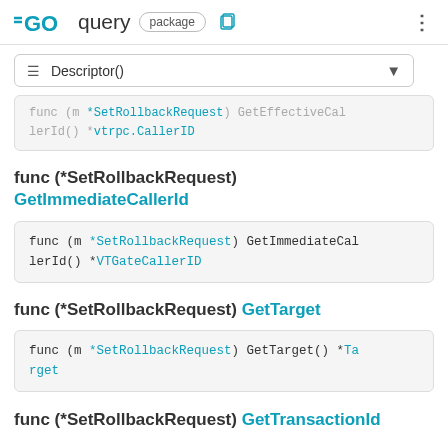GO query package
≡ Descriptor()
func (m *SetRollbackRequest) GetEffectiveCallerId() *vtrpc.CallerID
func (*SetRollbackRequest) GetImmediateCallerId
func (m *SetRollbackRequest) GetImmediateCallerId() *VTGateCallerID
func (*SetRollbackRequest) GetTarget
func (m *SetRollbackRequest) GetTarget() *Target
func (*SetRollbackRequest) GetTransactionId